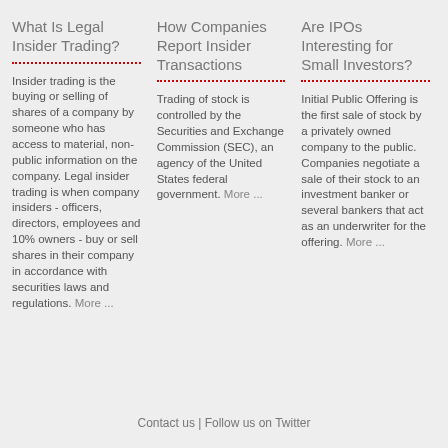What Is Legal Insider Trading?
How Companies Report Insider Transactions
Are IPOs Interesting for Small Investors?
Insider trading is the buying or selling of shares of a company by someone who has access to material, non-public information on the company. Legal insider trading is when company insiders - officers, directors, employees and 10% owners - buy or sell shares in their company in accordance with securities laws and regulations. More ...
Trading of stock is controlled by the Securities and Exchange Commission (SEC), an agency of the United States federal government. More ...
Initial Public Offering is the first sale of stock by a privately owned company to the public. Companies negotiate a sale of their stock to an investment banker or several bankers that act as an underwriter for the offering. More ...
Contact us | Follow us on Twitter